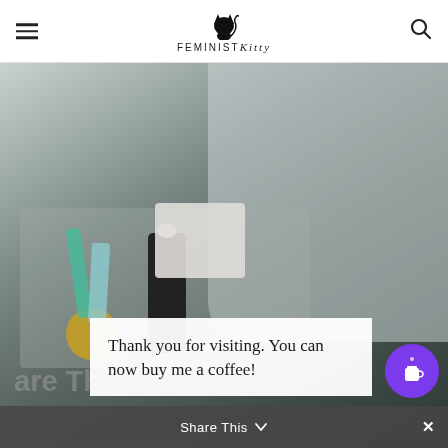FEMINIST Kitty
[Figure (photo): Overhead photo of medical/cat care supplies on a tray: bottles, tubes, adhesive tape, plastic organizer box with various items, disposable pads, and a syringe tool]
Thank you for visiting. You can now buy me a coffee!
Share This